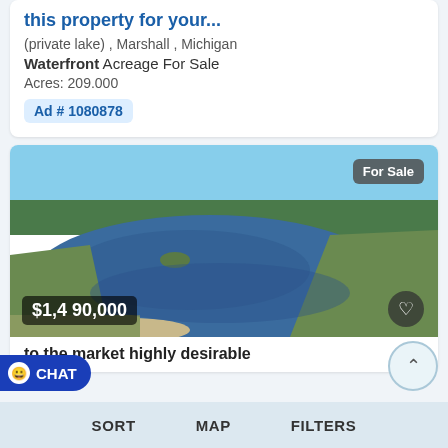this property for your...
(private lake) , Marshall , Michigan
Waterfront  Acreage For Sale
Acres: 209.000
Ad # 1080878
[Figure (photo): Aerial view of a private lake surrounded by trees and green land in Marshall, Michigan. Price overlay shows $1,490,000 and a For Sale badge in top right corner.]
to the market highly desirable
SORT   MAP   FILTERS